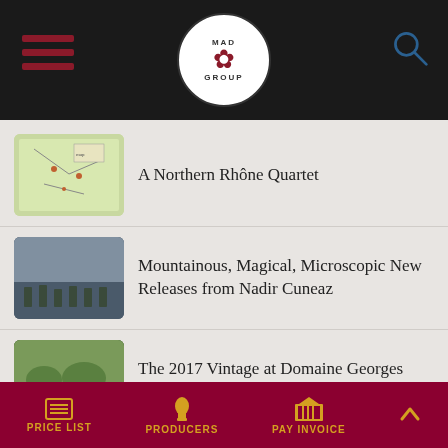[Figure (screenshot): Mad Rose Group app header with hamburger menu, circular logo, and search icon on black background]
A Northern Rhône Quartet
Mountainous, Magical, Microscopic New Releases from Nadir Cuneaz
The 2017 Vintage at Domaine Georges Lignier
A Farmer's Dozen From Bordeaux
PRICE LIST  PRODUCERS  PAY INVOICE